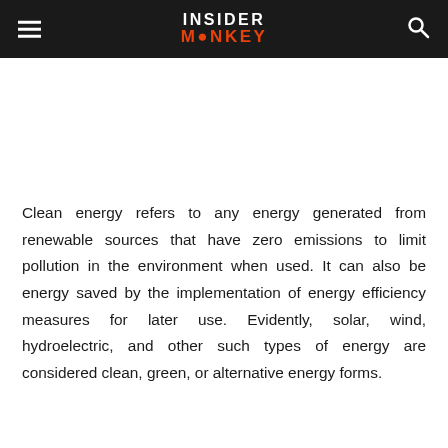INSIDER MONKEY
Clean energy refers to any energy generated from renewable sources that have zero emissions to limit pollution in the environment when used. It can also be energy saved by the implementation of energy efficiency measures for later use. Evidently, solar, wind, hydroelectric, and other such types of energy are considered clean, green, or alternative energy forms.